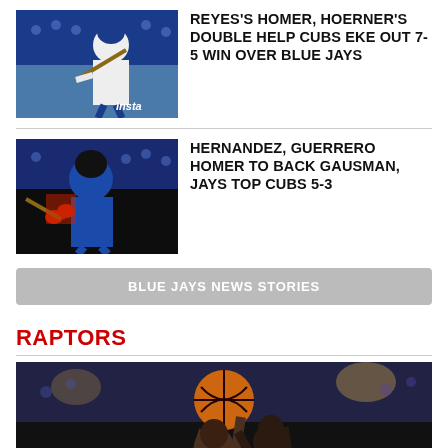[Figure (photo): Baseball player batting, Cubs vs Blue Jays game photo with 'Insta' watermark]
REYES'S HOMER, HOERNER'S DOUBLE HELP CUBS EKE OUT 7-5 WIN OVER BLUE JAYS
[Figure (photo): Blue Jays batter swinging, baseball action photo]
HERNANDEZ, GUERRERO HOMER TO BACK GAUSMAN, JAYS TOP CUBS 5-3
BLUE JAYS NEWS STORIES
RAPTORS
[Figure (photo): Basketball player holding ball overhead being defended, Raptors game photo]